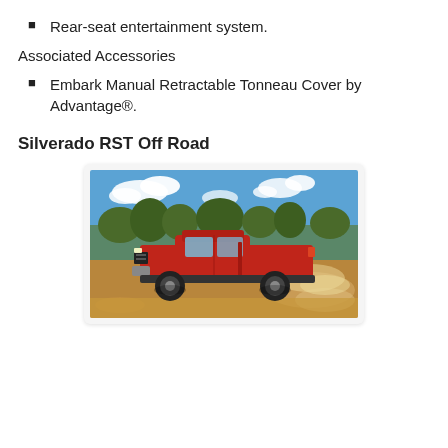Rear-seat entertainment system.
Associated Accessories
Embark Manual Retractable Tonneau Cover by Advantage®.
Silverado RST Off Road
[Figure (photo): Red Chevrolet Silverado RST Off Road truck driving on a dusty dirt road with trees and blue sky with clouds in the background.]